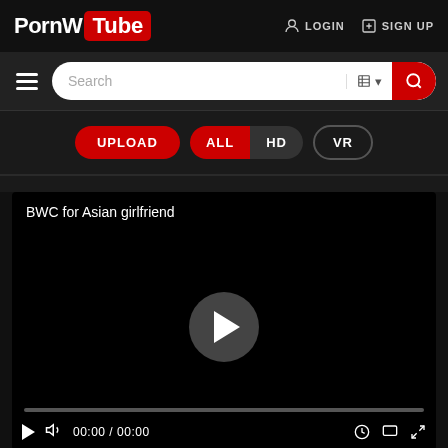PornW Tube — LOGIN  SIGN UP
[Figure (screenshot): Website navigation with search bar, hamburger menu, Upload/ALL/HD/VR filter buttons, and a video player showing 'BWC for Asian girlfriend' with play button and controls showing 00:00 / 00:00]
BWC for Asian girlfriend